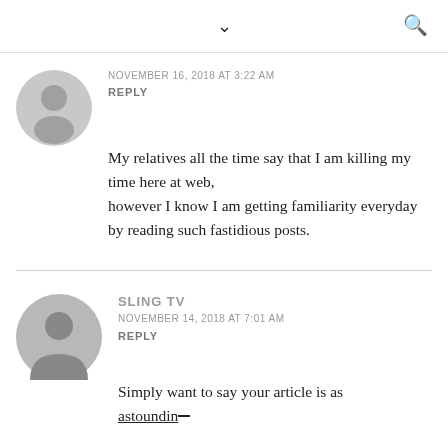▾   🔍
NOVEMBER 16, 2018 AT 3:22 AM
REPLY
My relatives all the time say that I am killing my time here at web, however I know I am getting familiarity everyday by reading such fastidious posts.
SLING TV
NOVEMBER 14, 2018 AT 7:01 AM
REPLY
Simply want to say your article is as astounding.